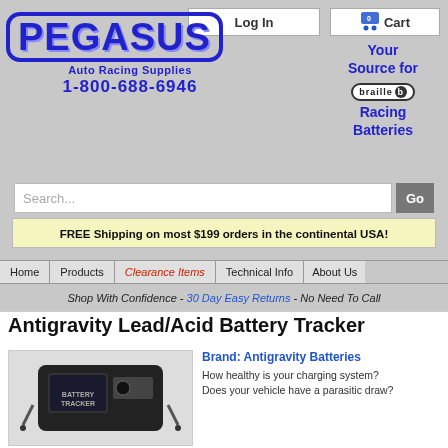[Figure (logo): Pegasus Auto Racing Supplies logo with blue text and border, phone number 1-800-688-6946]
Log In
0  Cart
Your Source for braille Racing Batteries
Search...  Go
FREE Shipping on most $199 orders in the continental USA!
Home | Products | Clearance Items | Technical Info | About Us
Shop With Confidence - 30 Day Easy Returns - No Need To Call
Antigravity Lead/Acid Battery Tracker
[Figure (photo): Battery Tracker device - small black electronic device with cables]
Brand: Antigravity Batteries
How healthy is your charging system? Does your vehicle have a parasitic draw?